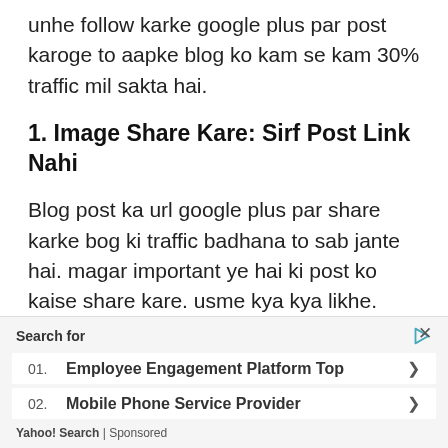unhe follow karke google plus par post karoge to aapke blog ko kam se kam 30% traffic mil sakta hai.
1. Image Share Kare: Sirf Post Link Nahi
Blog post ka url google plus par share karke bog ki traffic badhana to sab jante hai. magar important ye hai ki post ko kaise share kare. usme kya kya likhe. jisse blog par jada se jada visitor aa sake. mai aapse kahna chahunga ki aap sirf blog post ka url share mat kare. but post
[Figure (screenshot): Yahoo Search sponsored ad overlay showing 'Search for' header with two search suggestions: '01. Employee Engagement Platform Top' and '02. Mobile Phone Service Provider', with a close button (x) and Yahoo! Search | Sponsored footer.]